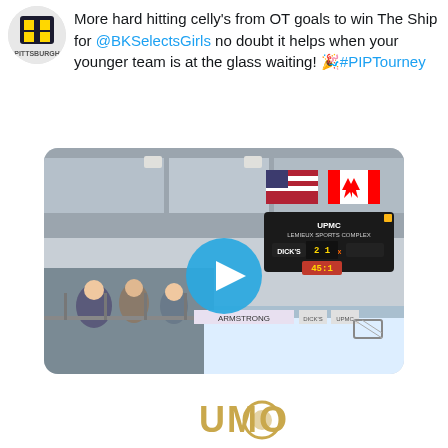[Figure (logo): Pittsburgh youth hockey team logo/avatar — circular badge with Pittsburgh text and a logo mark]
More hard hitting celly's from OT goals to win The Ship for @BKSelectsGirls no doubt it helps when your younger team is at the glass waiting! 🎉#PIPTourney
[Figure (screenshot): Video thumbnail of an ice hockey arena interior — UPMC Lemieux Sports Complex scoreboard visible showing DICK'S and FedEx sponsors, US and Canadian flags, spectators in stands, hockey rink ice visible, with a play button overlay in the center]
[Figure (logo): Partial logo visible at bottom of page — gold/yellow colored logo partially cut off]